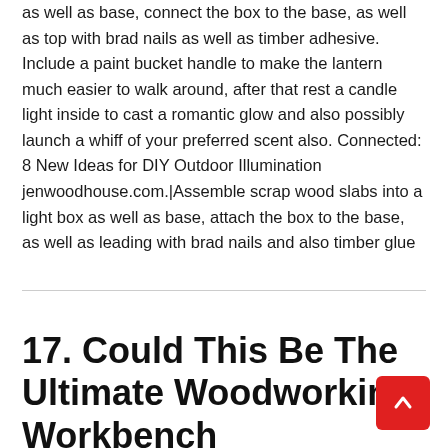as well as base, connect the box to the base, as well as top with brad nails as well as timber adhesive. Include a paint bucket handle to make the lantern much easier to walk around, after that rest a candle light inside to cast a romantic glow and also possibly launch a whiff of your preferred scent also. Connected: 8 New Ideas for DIY Outdoor Illumination jenwoodhouse.com.|Assemble scrap wood slabs into a light box as well as base, attach the box to the base, as well as leading with brad nails and also timber glue
17. Could This Be The Ultimate Woodworking Workbench